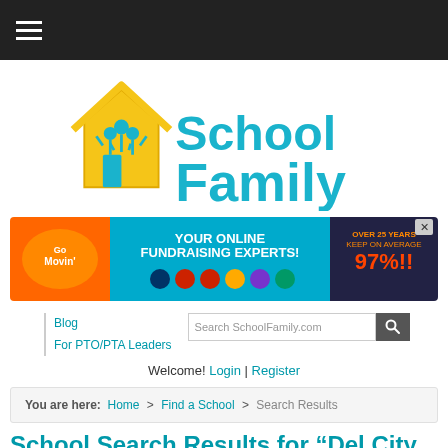[Figure (logo): SchoolFamily logo with house icon and tagline 'Your go-to guide for school success']
[Figure (infographic): Online fundraising experts advertisement banner with 97% statistic]
Blog
For PTO/PTA Leaders
Welcome! Login | Register
You are here: Home > Find a School > Search Results
School Search Results for “Del City, OK”
194 schools found